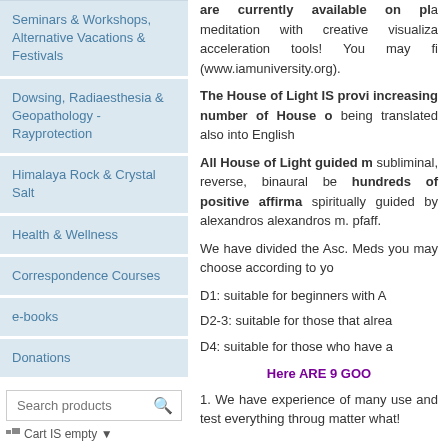Seminars & Workshops, Alternative Vacations & Festivals
Dowsing, Radiaesthesia & Geopathology - Rayprotection
Himalaya Rock & Crystal Salt
Health & Wellness
Correspondence Courses
e-books
Donations
are currently available on place meditation with creative visualization acceleration tools! You may fi (www.iamuniversity.org).
The House of Light IS providing increasing number of House of being translated also into English
All House of Light guided m subliminal, reverse, binaural be hundreds of positive affirma spiritually guided by alexandros alexandros m. pfaff.
We have divided the Asc. Meds you may choose according to yo
D1: suitable for beginners with A
D2-3: suitable for those that alrea
D4: suitable for those who have a
Here ARE 9 GOO
1. We have experience of many use and test everything throug matter what!